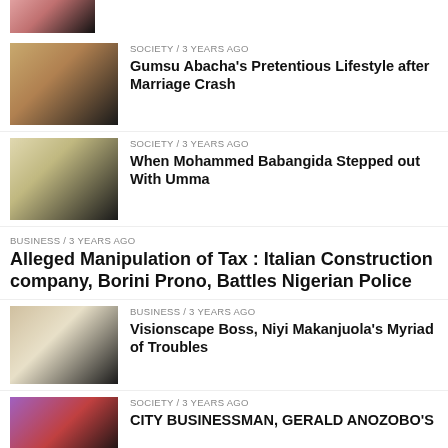[Figure (photo): Partial photo at top of page, cropped woman portrait]
SOCIETY / 3 years ago
Gumsu Abacha's Pretentious Lifestyle after Marriage Crash
[Figure (photo): Photo of a couple, woman in traditional attire]
SOCIETY / 3 years ago
When Mohammed Babangida Stepped out With Umma
BUSINESS / 3 years ago
Alleged Manipulation of Tax : Italian Construction company, Borini Prono, Battles Nigerian Police
[Figure (photo): Photo of a businessman in white suit]
BUSINESS / 3 years ago
Visionscape Boss, Niyi Makanjuola's Myriad of Troubles
[Figure (photo): Photo of a man in traditional cap]
SOCIETY / 3 years ago
CITY BUSINESSMAN, GERALD ANOZOBO'S